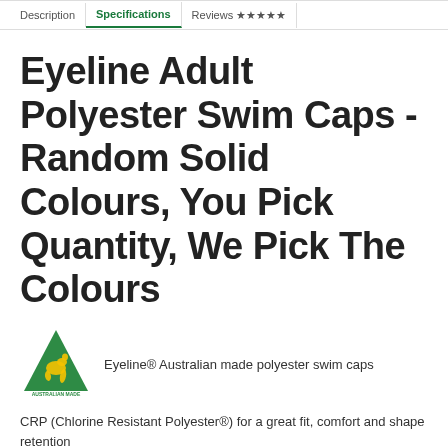Description | Specifications | Reviews ★★★★★
Eyeline Adult Polyester Swim Caps - Random Solid Colours, You Pick Quantity, We Pick The Colours
[Figure (logo): Australian Made logo: green triangle with kangaroo silhouette, text 'AUSTRALIAN MADE' below]
Eyeline® Australian made polyester swim caps
CRP (Chlorine Resistant Polyester®) for a great fit, comfort and shape retention
Fabric:  CRP Polyester®
You order quantity we pick the caps.  Adult polyester caps are made from the same material as our swimsuits. Eyeline CRP® (Chlorine Resistant Polyester®) have an all-start tested & proven with premium